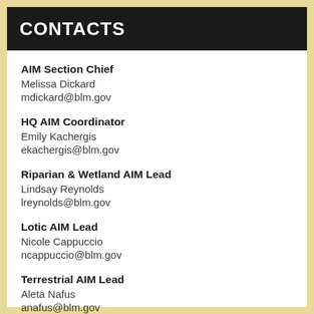CONTACTS
AIM Section Chief
Melissa Dickard
mdickard@blm.gov
HQ AIM Coordinator
Emily Kachergis
ekachergis@blm.gov
Riparian & Wetland AIM Lead
Lindsay Reynolds
lreynolds@blm.gov
Lotic AIM Lead
Nicole Cappuccio
ncappuccio@blm.gov
Terrestrial AIM Lead
Aleta Nafus
anafus@blm.gov